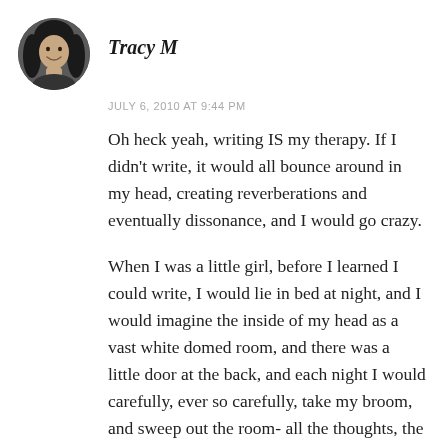[Figure (photo): Circular avatar photo of a woman with long dark hair, smiling, used as a user profile picture]
Tracy M
JULY 6, 2010 AT 9:44 PM
Oh heck yeah, writing IS my therapy. If I didn't write, it would all bounce around in my head, creating reverberations and eventually dissonance, and I would go crazy.
When I was a little girl, before I learned I could write, I would lie in bed at night, and I would imagine the inside of my head as a vast white domed room, and there was a little door at the back, and each night I would carefully, ever so carefully, take my broom, and sweep out the room- all the thoughts, the fears, the anxiety of the day- and push it out that little door. Then,